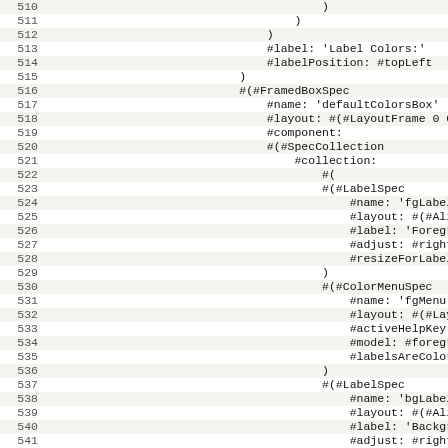Code listing lines 510-541 showing a UI specification in a structured markup language with FramedBoxSpec, SpecCollection, LabelSpec, and ColorMenuSpec elements.